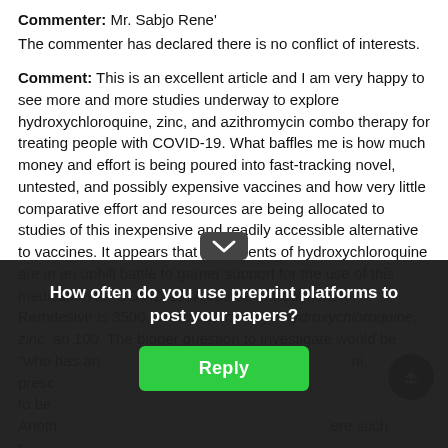Commenter: Mr. Sabjo Rene'
The commenter has declared there is no conflict of interests.
Comment: This is an excellent article and I am very happy to see more and more studies underway to explore hydroxychloroquine, zinc, and azithromycin combo therapy for treating people with COVID-19. What baffles me is how much money and effort is being poured into fast-tracking novel, untested, and possibly expensive vaccines and how very little comparative effort and resources are being allocated to studies of this inexpensive and readily accessible alternative to vaccines. It appears that proponents of hydroxychloroquine are in an uphill battle to garner support for the use of this medication for COVID-19. A course of treatment for Remdesivir is 3500. The combo therapy of hydroxychloroquine, zinc, an 100. The bigger question to investigate would be "who has an interest in… prescription… to be… Another… here such t…
How often do you use preprint platforms to post your papers?